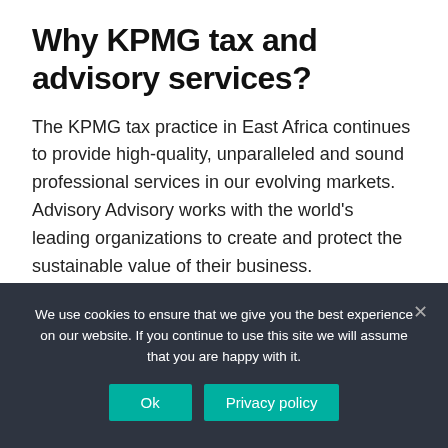Why KPMG tax and advisory services?
The KPMG tax practice in East Africa continues to provide high-quality, unparalleled and sound professional services in our evolving markets. Advisory Advisory works with the world's leading organizations to create and protect the sustainable value of their business.
We use cookies to ensure that we give you the best experience on our website. If you continue to use this site we will assume that you are happy with it.
Ok  Privacy policy